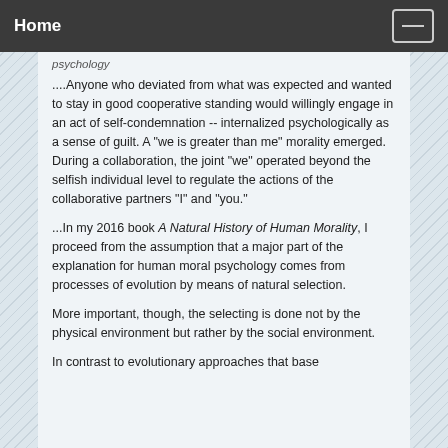Home
....Anyone who deviated from what was expected and wanted to stay in good cooperative standing would willingly engage in an act of self-condemnation -- internalized psychologically as a sense of guilt. A "we is greater than me" morality emerged. During a collaboration, the joint "we" operated beyond the selfish individual level to regulate the actions of the collaborative partners "I" and "you."
...In my 2016 book A Natural History of Human Morality, I proceed from the assumption that a major part of the explanation for human moral psychology comes from processes of evolution by means of natural selection.
More important, though, the selecting is done not by the physical environment but rather by the social environment.
In contrast to evolutionary approaches that base